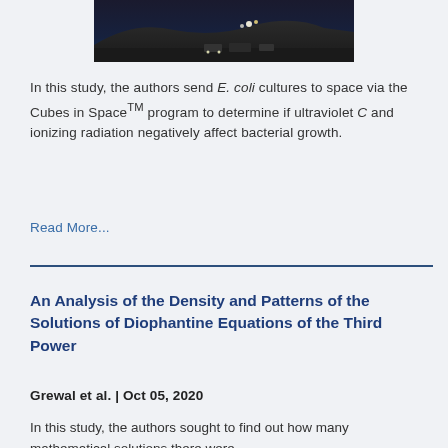[Figure (photo): Nighttime outdoor scene, possibly a launch site or hillside with lights and vehicles visible against a dark sky.]
In this study, the authors send E. coli cultures to space via the Cubes in Space™ program to determine if ultraviolet C and ionizing radiation negatively affect bacterial growth.
Read More...
An Analysis of the Density and Patterns of the Solutions of Diophantine Equations of the Third Power
Grewal et al. | Oct 05, 2020
In this study, the authors sought to find out how many mathematical solutions there were